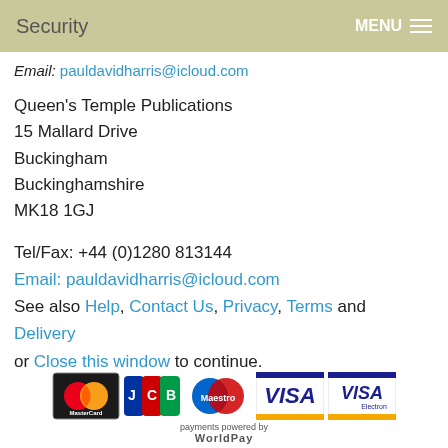Security  MENU
Email: pauldavidharris@icloud.com
Queen's Temple Publications
15 Mallard Drive
Buckingham
Buckinghamshire
MK18 1GJ
Tel/Fax: +44 (0)1280 813144
Email: pauldavidharris@icloud.com
See also Help, Contact Us, Privacy, Terms and Delivery
or Close this window to continue.
[Figure (logo): Payment logos: MasterCard, JCB, Maestro, VISA, VISA Electron. Text: payments powered by WorldPay]